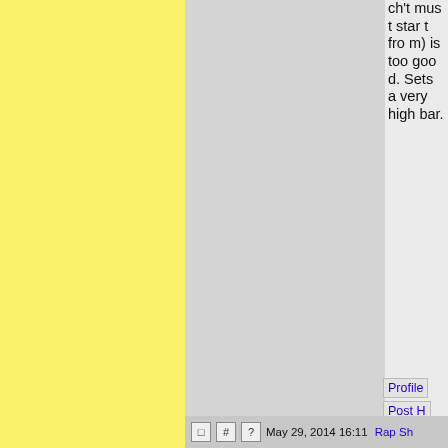ch't must start from) is too good. Sets a very high bar.
Profile
Post H
May 29, 2014 16:11  Rap Sh